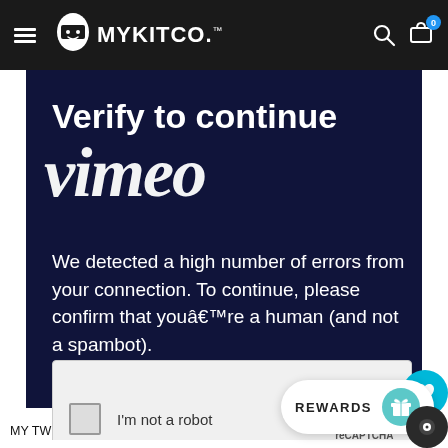[Figure (screenshot): MYKITCO website navigation bar with hamburger menu, logo, search and cart icons on dark background]
[Figure (screenshot): Vimeo 'Verify to continue' CAPTCHA page overlay on dark navy background with reCAPTCHA widget and rewards bar]
MY TWIN CANVAS POUCH™ is your perfect kit organiser.